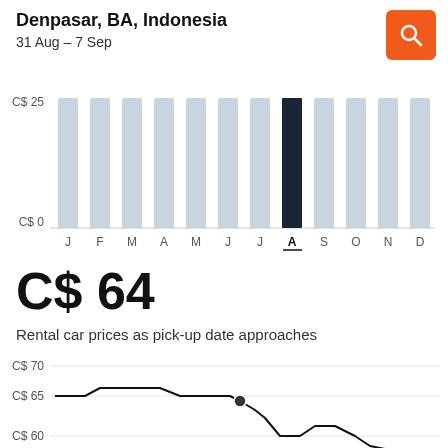Denpasar, BA, Indonesia
31 Aug – 7 Sep
[Figure (bar-chart): Monthly prices bar chart]
C$ 64
Rental car prices as pick-up date approaches
[Figure (line-chart): Line chart showing rental car price decreasing from C$65 to lower values as pick-up date approaches. The line starts at C$65, rises slightly to C$66, stays flat, then steps down, with a highlighted dot at approximately C$65, then continues stepping down toward C$60 and below.]